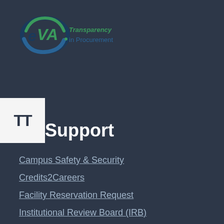[Figure (logo): eVA Transparency in Procurement logo — circular arrow design in dark blue/green with 'eVA' text and 'Transparency in Procurement' tagline]
Support
Campus Safety & Security
Credits2Careers
Facility Reservation Request
Institutional Review Board (IRB)
VCCS Shared Services Center
Tech Help